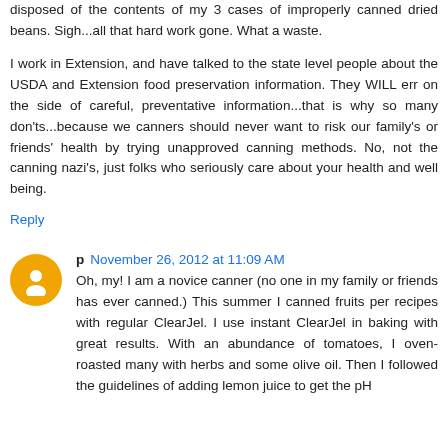disposed of the contents of my 3 cases of improperly canned dried beans. Sigh...all that hard work gone. What a waste.
I work in Extension, and have talked to the state level people about the USDA and Extension food preservation information. They WILL err on the side of careful, preventative information...that is why so many don'ts...because we canners should never want to risk our family's or friends' health by trying unapproved canning methods. No, not the canning nazi's, just folks who seriously care about your health and well being.
Reply
p  November 26, 2012 at 11:09 AM
Oh, my! I am a novice canner (no one in my family or friends has ever canned.) This summer I canned fruits per recipes with regular ClearJel. I use instant ClearJel in baking with great results. With an abundance of tomatoes, I oven-roasted many with herbs and some olive oil. Then I followed the guidelines of adding lemon juice to get the pH